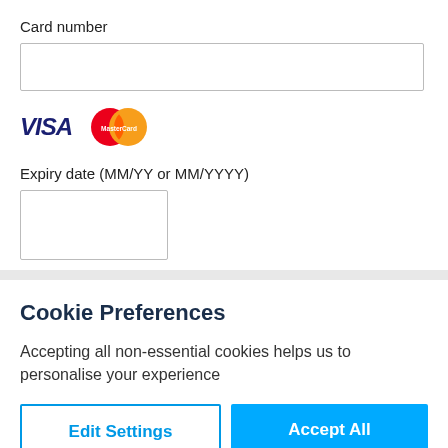Card number
[Figure (screenshot): Empty card number input field, white rectangle with border]
[Figure (other): VISA logo (dark blue italic bold text) and MasterCard logo (overlapping red and orange circles with white MasterCard text)]
Expiry date (MM/YY or MM/YYYY)
[Figure (screenshot): Empty expiry date input field, small white rectangle with border]
Cookie Preferences
Accepting all non-essential cookies helps us to personalise your experience
Edit Settings
Accept All